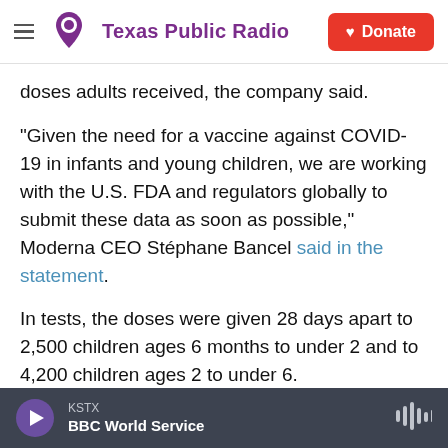Texas Public Radio — Donate
doses adults received, the company said.
"Given the need for a vaccine against COVID-19 in infants and young children, we are working with the U.S. FDA and regulators globally to submit these data as soon as possible," Moderna CEO Stéphane Bancel said in the statement.
In tests, the doses were given 28 days apart to 2,500 children ages 6 months to under 2 and to 4,200 children ages 2 to under 6.
The pediatric doses "showed a robust neutralizing
KSTX — BBC World Service